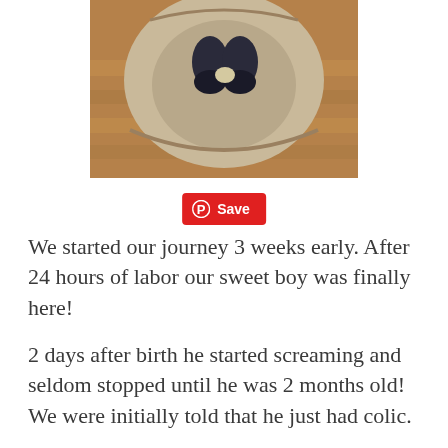[Figure (photo): Overhead view of a baby in a bouncer seat on a hardwood floor, showing baby's legs in dark socks/booties from above]
Save
We started our journey 3 weeks early. After 24 hours of labor our sweet boy was finally here!
2 days after birth he started screaming and seldom stopped until he was 2 months old! We were initially told that he just had colic.